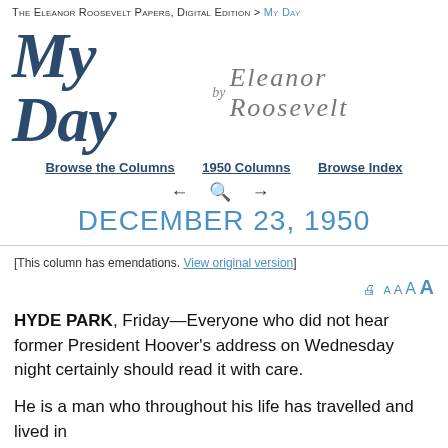The Eleanor Roosevelt Papers, Digital Edition > My Day
My Day by Eleanor Roosevelt
Browse the Columns   1950 Columns   Browse Index
DECEMBER 23, 1950
[This column has emendations. View original version]
HYDE PARK, Friday—Everyone who did not hear former President Hoover's address on Wednesday night certainly should read it with care.
He is a man who throughout his life has travelled and lived in